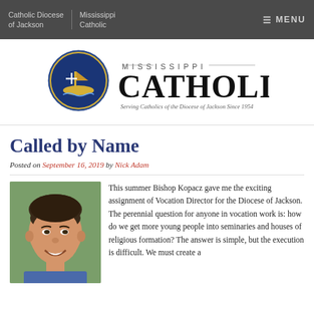Catholic Diocese of Jackson | Mississippi Catholic | MENU
[Figure (logo): Mississippi Catholic logo with Diocese of Jackson seal and text 'MISSISSIPPI CATHOLIC - Serving Catholics of the Diocese of Jackson Since 1954']
Called by Name
Posted on September 16, 2019 by Nick Adam
[Figure (photo): Portrait photo of a smiling young man with short dark hair outdoors]
This summer Bishop Kopacz gave me the exciting assignment of Vocation Director for the Diocese of Jackson. The perennial question for anyone in vocation work is: how do we get more young people into seminaries and houses of religious formation? The answer is simple, but the execution is difficult. We must create a